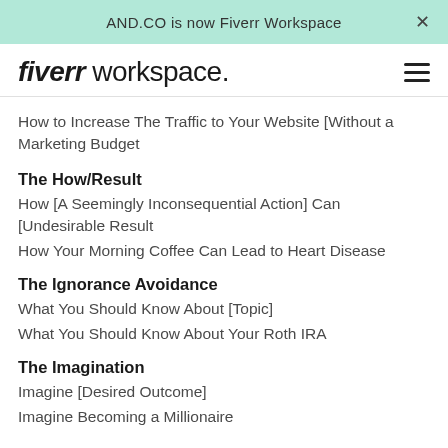AND.CO is now Fiverr Workspace
fiverr workspace.
How to Increase The Traffic to Your Website [Without a Marketing Budget
The How/Result
How [A Seemingly Inconsequential Action] Can [Undesirable Result
How Your Morning Coffee Can Lead to Heart Disease
The Ignorance Avoidance
What You Should Know About [Topic]
What You Should Know About Your Roth IRA
The Imagination
Imagine [Desired Outcome]
Imagine Becoming a Millionaire